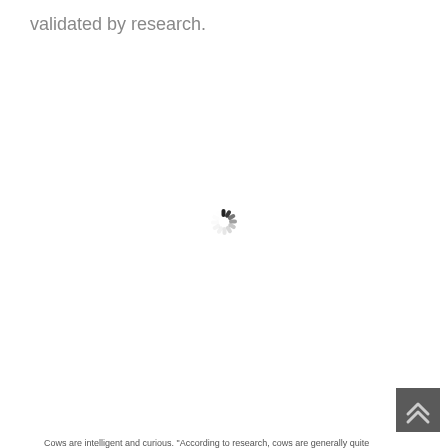validated by research.
[Figure (other): Spinning loading indicator (spinner) displayed in the center of the page, consisting of short dark radial dashes arranged in a circle pattern.]
[Figure (other): Back-to-top button: a dark gray square button in the bottom-right corner containing two upward-pointing chevron arrows in white/light color.]
Cows are intelligent and curious. "According to research, cows are generally quite